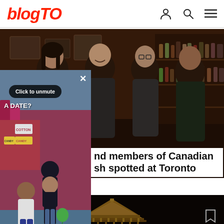blogTO
[Figure (photo): Four men posing together inside a bar/pub setting. The leftmost man has long dark hair and a beard wearing a leather jacket. The others are smiling and dressed casually. Bar shelves with bottles visible in background.]
[Figure (screenshot): Video popup overlay showing a couple at a fairground (CNE). A 'Click to unmute' button is shown. Text overlay partially visible reading 'A DATE?' with CNE as a date night spot caption. Pause button at bottom left. Close (X) button top right.]
nd members of Canadian sh spotted at Toronto
[Figure (photo): Bottom cropped image showing an ornate Asian-style architectural roof structure (appears to be a pagoda or temple roof) against a dark background. Bookmark icon visible bottom right.]